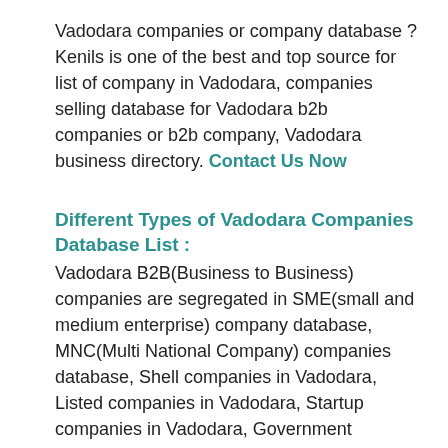Vadodara companies or company database ? Kenils is one of the best and top source for list of company in Vadodara, companies selling database for Vadodara b2b companies or b2b company, Vadodara business directory. Contact Us Now
Different Types of Vadodara Companies Database List :
Vadodara B2B(Business to Business) companies are segregated in SME(small and medium enterprise) company database, MNC(Multi National Company) companies database, Shell companies in Vadodara, Listed companies in Vadodara, Startup companies in Vadodara, Government companies in Vadodara, Psu companies in Vadodara, etc.
Registrar List of Companies Vadodara Database :
Kenils offer online and offline register of companies Vadodara, companies register online are listed on b2b